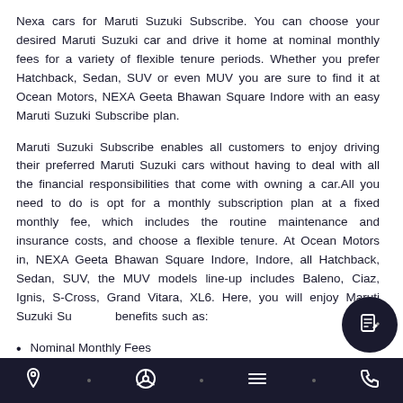Nexa cars for Maruti Suzuki Subscribe. You can choose your desired Maruti Suzuki car and drive it home at nominal monthly fees for a variety of flexible tenure periods. Whether you prefer Hatchback, Sedan, SUV or even MUV you are sure to find it at Ocean Motors, NEXA Geeta Bhawan Square Indore with an easy Maruti Suzuki Subscribe plan.
Maruti Suzuki Subscribe enables all customers to enjoy driving their preferred Maruti Suzuki cars without having to deal with all the financial responsibilities that come with owning a car.All you need to do is opt for a monthly subscription plan at a fixed monthly fee, which includes the routine maintenance and insurance costs, and choose a flexible tenure. At Ocean Motors in, NEXA Geeta Bhawan Square Indore, Indore, all Hatchback, Sedan, SUV, the MUV models line-up includes Baleno, Ciaz, Ignis, S-Cross, Grand Vitara, XL6. Here, you will enjoy Maruti Suzuki Subscribe benefits such as:
Nominal Monthly Fees
Flexible Subscription Tenure Options, starting as low as 12 mo…
Hassle-free Ownership
Navigation bar with location, steering, menu, and phone icons